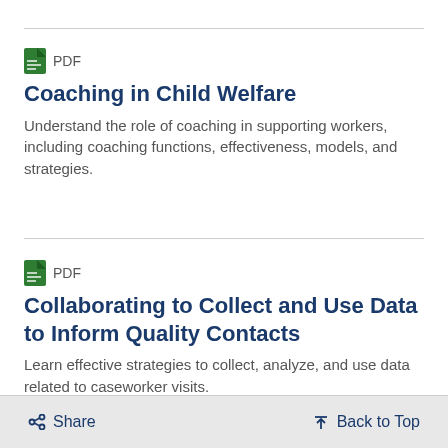PDF
Coaching in Child Welfare
Understand the role of coaching in supporting workers, including coaching functions, effectiveness, models, and strategies.
PDF
Collaborating to Collect and Use Data to Inform Quality Contacts
Learn effective strategies to collect, analyze, and use data related to caseworker visits.
< Share   ↑ Back to Top